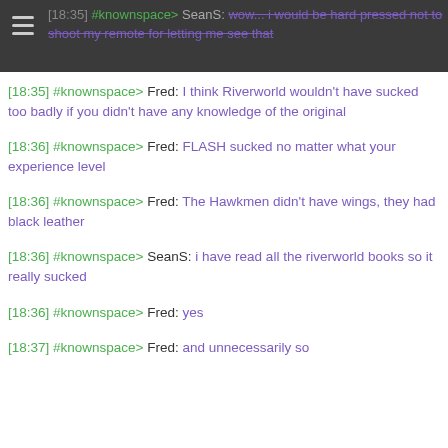[18:35] #knownspace> SeanS: wow... i would be hard pressed not to shoot my remote for letting me see that
[18:35] #knownspace> Fred: I think Riverworld wouldn't have sucked too badly if you didn't have any knowledge of the original
[18:36] #knownspace> Fred: FLASH sucked no matter what your experience level
[18:36] #knownspace> Fred: The Hawkmen didn't have wings, they had black leather
[18:36] #knownspace> SeanS: i have read all the riverworld books so it really sucked
[18:36] #knownspace> Fred: yes
[18:37] #knownspace> Fred: and unnecessarily so